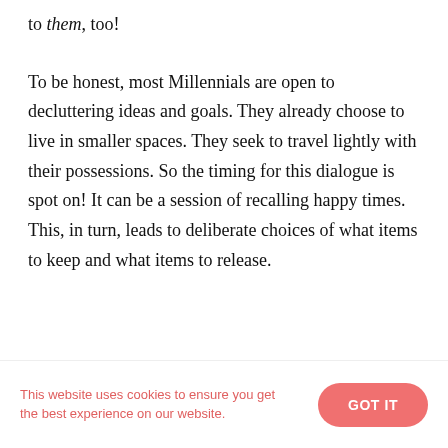to them, too!
To be honest, most Millennials are open to decluttering ideas and goals. They already choose to live in smaller spaces. They seek to travel lightly with their possessions. So the timing for this dialogue is spot on! It can be a session of recalling happy times. This, in turn, leads to deliberate choices of what items to keep and what items to release.
This website uses cookies to ensure you get the best experience on our website.   GOT IT